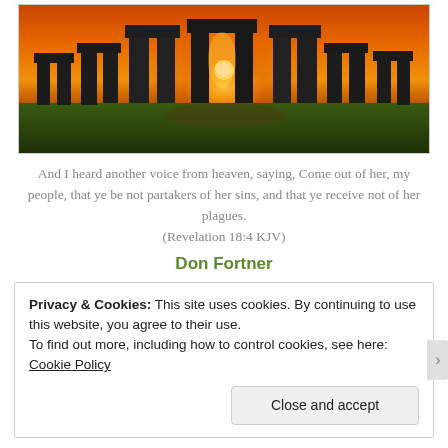[Figure (photo): Stonehenge at sunset with orange sky and sun shining through the stone arches]
And I heard another voice from heaven, saying, Come out of her, my people, that ye be not partakers of her sins, and that ye receive not of her plagues.
(Revelation 18:4 KJV)
Don Fortner
Privacy & Cookies: This site uses cookies. By continuing to use this website, you agree to their use.
To find out more, including how to control cookies, see here: Cookie Policy
Close and accept